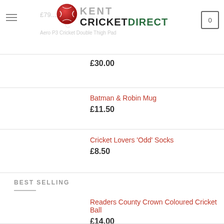Kent Cricket Direct
£30.00
Batman & Robin Mug
£11.50
Cricket Lovers 'Odd' Socks
£8.50
BEST SELLING
Readers County Crown Coloured Cricket Ball
£14.00